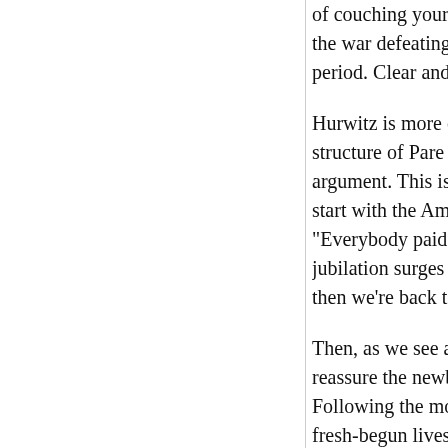of couching your argument as a narrative. In ch the war defeating Hitler; the celebration of victo period. Clear and straightforward.
Hurwitz is more canny. Many films embracing structure of Pare Lorentz's The River (1938), w argument. This is Hurwitz's approach, but his s start with the America of today before flashing "Everybody paid," says the male narrator. "Eve jubilation surges up as the Nazis fall. "For a da then we're back to the newsstand and a montag
Then, as we see a pregnant woman on a bench, reassure the newborn babies that they have a pl Following the montage of haters with images o fresh-begun lives. They know nothing of the Ar learn our world.
This foreboding is confirmed by a chorus of na song of innocence is undercut by a song of bitte raps out the facts of "our daily barbarisms." Ge